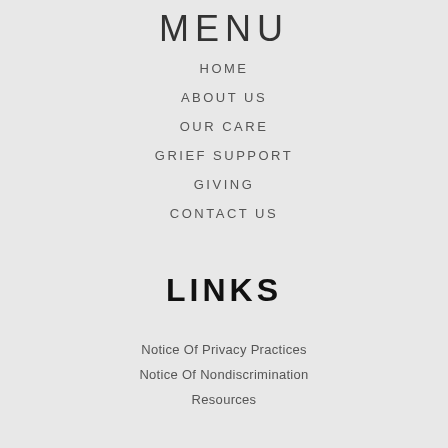MENU
HOME
ABOUT US
OUR CARE
GRIEF SUPPORT
GIVING
CONTACT US
LINKS
Notice Of Privacy Practices
Notice Of Nondiscrimination
Resources